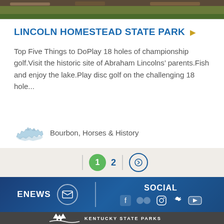[Figure (photo): Top partial photo strip showing outdoor nature/park scenery with trees and ground]
LINCOLN HOMESTEAD STATE PARK ▶
Top Five Things to DoPlay 18 holes of championship golf.Visit the historic site of Abraham Lincolns' parents.Fish and enjoy the lake.Play disc golf on the challenging 18 hole...
Bourbon, Horses & History
1  2  →
ENEWS
SOCIAL
[Figure (logo): Kentucky State Parks logo with white tree/wave icon and text KENTUCKY STATE PARKS on dark gray background]